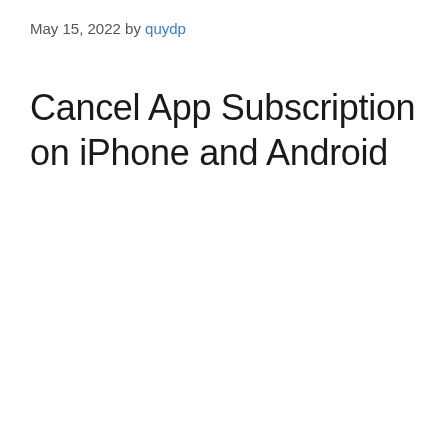May 15, 2022 by quydp
Cancel App Subscription on iPhone and Android